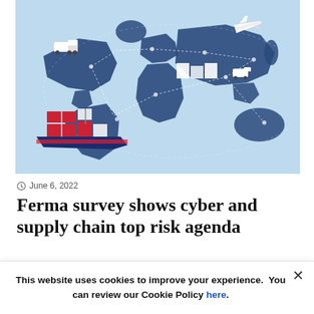[Figure (illustration): Isometric illustration of global supply chain and logistics on a blue world map background, showing a cargo ship, airplane, trucks, and warehouse buildings connected by dotted lines]
June 6, 2022
Ferma survey shows cyber and supply chain top risk agenda
Cyber risk and the threat of supply chain failure have shot up the European risk management agenda during the last...
This website uses cookies to improve your experience.  You can review our Cookie Policy here.